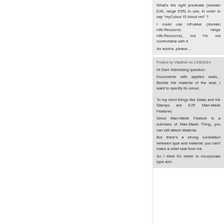What's the right predicate (domain E26, range E55) to use, in order to say "myColour IS blood red" ? I could use rdf:value (domain rdfs:Resource, range rdfs:Resource), but I'm not comfortable with it. An advice, please...
Posted by Vladimir on 13/8/2014
Hi Dan! Interesting question.
Documents with applied seals... Beside the material of the seal, I want to specify its colour,

To my mind things like Seals and Ink Stamps are E25 Man-Made Features.
Since Man-Made Feature is a subclass of Man-Made Thing, you can still attach Material.
But there's a strong correlation between type and material: you can't make a relief seal from ink
So I think it's better to incorporate type and